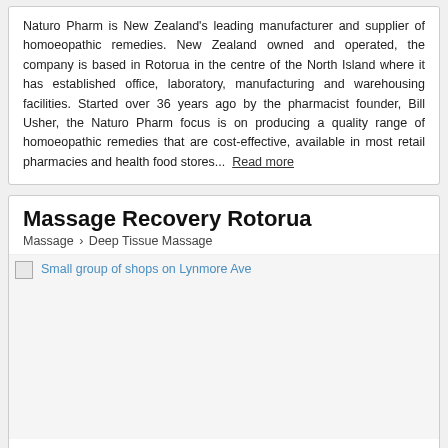Naturo Pharm is New Zealand's leading manufacturer and supplier of homoeopathic remedies. New Zealand owned and operated, the company is based in Rotorua in the centre of the North Island where it has established office, laboratory, manufacturing and warehousing facilities. Started over 36 years ago by the pharmacist founder, Bill Usher, the Naturo Pharm focus is on producing a quality range of homoeopathic remedies that are cost-effective, available in most retail pharmacies and health food stores...  Read more
Massage Recovery Rotorua
Massage > Deep Tissue Massage
[Figure (photo): Image placeholder with caption: Small group of shops on Lynmore Ave]
Shop 4, 26 Lynmore Ave, Lynmore (3010), Bay of Plenty Region
2-5 km from Victoria (3010)